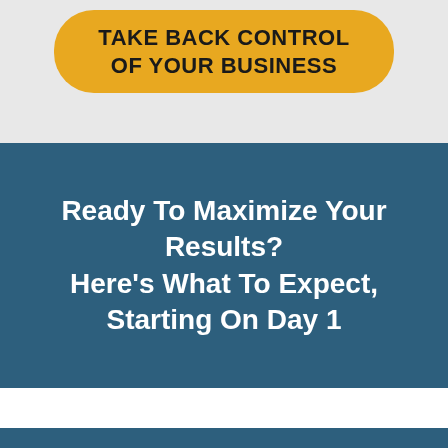TAKE BACK CONTROL OF YOUR BUSINESS
Ready To Maximize Your Results? Here's What To Expect, Starting On Day 1
Day #1, May 24th